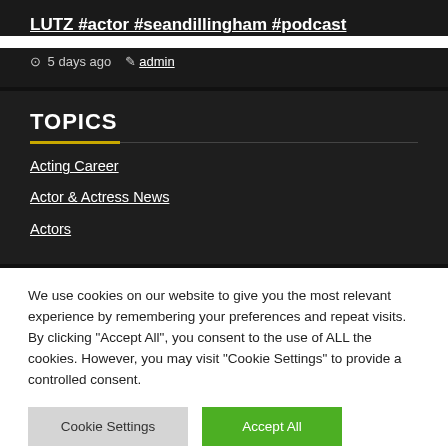LUTZ #actor #seandillingham #podcast
5 days ago  admin
TOPICS
Acting Career
Actor & Actress News
Actors
We use cookies on our website to give you the most relevant experience by remembering your preferences and repeat visits. By clicking "Accept All", you consent to the use of ALL the cookies. However, you may visit "Cookie Settings" to provide a controlled consent.
Cookie Settings | Accept All